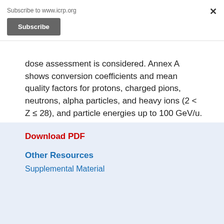Subscribe to www.icrp.org
Subscribe
dose assessment is considered. Annex A shows conversion coefficients and mean quality factors for protons, charged pions, neutrons, alpha particles, and heavy ions (2 < Z ≤ 28), and particle energies up to 100 GeV/u.
Download PDF
Other Resources
Supplemental Material